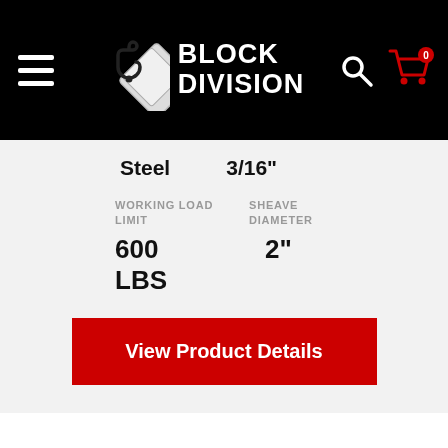Block Division — website header with logo, hamburger menu, search and cart icons
Steel   3/16"
WORKING LOAD LIMIT   SHEAVE DIAMETER
600 LBS   2"
View Product Details
02048-3
2" Series Eye Pull